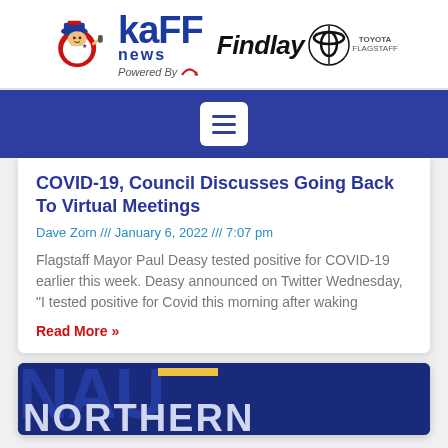[Figure (logo): KAFF News logo with mascot, 'Powered By' text, and Findlay Toyota Flagstaff logo with Toyota circle emblem]
[Figure (other): Blue navigation bar with white hamburger menu button]
COVID-19, Council Discusses Going Back To Virtual Meetings
Dave Zorn /// January 6, 2022 /// 7:07 pm
Flagstaff Mayor Paul Deasy tested positive for COVID-19 earlier this week. Deasy announced on Twitter Wednesday, "I tested positive for Covid this morning after waking
Read More »
[Figure (screenshot): Partial view of a second article card showing a dark blue banner with large bold letters, partially visible, showing what appears to be Northern Arizona University related content]